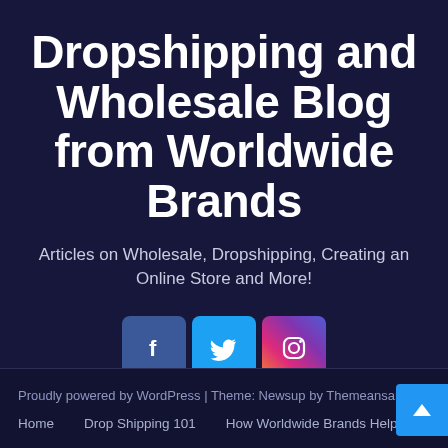Dropshipping and Wholesale Blog from Worldwide Brands
Articles on Wholesale, Dropshipping, Creating an Online Store and More!
[Figure (infographic): Three social media icon buttons: Facebook (blue), Twitter (light blue), Instagram (gradient pink/purple)]
Proudly powered by WordPress | Theme: Newsup by Themeansar.
Home   Drop Shipping 101   How Worldwide Brands Help